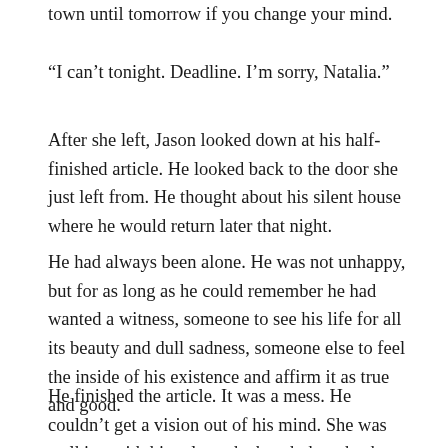town until tomorrow if you change your mind.
“I can’t tonight. Deadline. I’m sorry, Natalia.”
After she left, Jason looked down at his half-finished article. He looked back to the door she just left from. He thought about his silent house where he would return later that night.
He had always been alone. He was not unhappy, but for as long as he could remember he had wanted a witness, someone to see his life for all its beauty and dull sadness, someone else to feel the inside of his existence and affirm it as true and good.
He finished the article. It was a mess. He couldn’t get a vision out of his mind. She was walking with him along the beach, her cheeks flushed red from the cold. She followed him to the